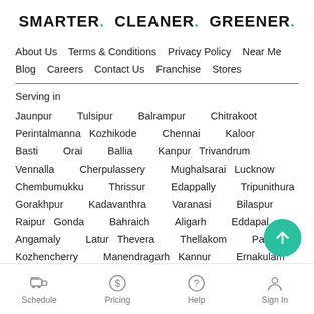SMARTER. CLEANER. GREENER.
About Us   Terms & Conditions   Privacy Policy   Near Me   Blog   Careers   Contact Us   Franchise   Stores
Serving in
Jaunpur Tulsipur Balrampur Chitrakoot Perintalmanna Kozhikode Chennai Kaloor Basti Orai Ballia Kanpur Trivandrum Vennalla Cherpulassery Mughalsarai Lucknow Chembumukku Thrissur Edappally Tripunithura Gorakhpur Kadavanthra Varanasi Bilaspur Raipur Gonda Bahraich Aligarh Eddapal Angamaly Latur Thevera Thellakom Pala Kozhencherry Manendragarh Kannur Ernakulam Kochi Ramanattukara Nadapuram Jamshedpur Gurugram Coimbatore Bareilly Jabalpur Anantapur Chittoor
Schedule  Pricing  Help  Sign In